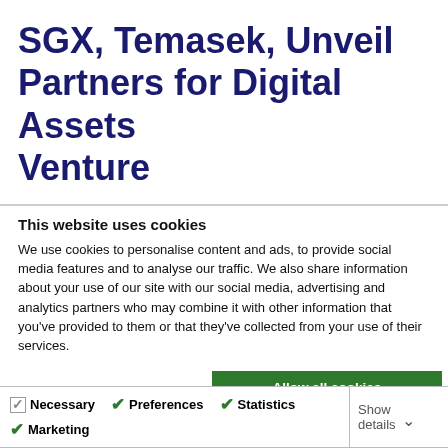SGX, Temasek, Unveil Partners for Digital Assets Venture
This website uses cookies
We use cookies to personalise content and ads, to provide social media features and to analyse our traffic. We also share information about your use of our site with our social media, advertising and analytics partners who may combine it with other information that you've provided to them or that they've collected from your use of their services.
Allow all cookies
Allow selection
Use necessary cookies only
Necessary  Preferences  Statistics  Marketing  Show details